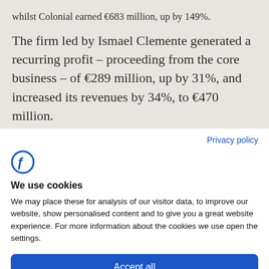whilst Colonial earned €683 million, up by 149%.
The firm led by Ismael Clemente generated a recurring profit – proceeding from the core business – of €289 million, up by 31%, and increased its revenues by 34%, to €470 million.
Privacy policy
[Figure (logo): Circular 'F' letter logo in blue, resembling the Funds Europe or similar financial publication brand mark]
We use cookies
We may place these for analysis of our visitor data, to improve our website, show personalised content and to give you a great website experience. For more information about the cookies we use open the settings.
Accept all
Deny
No, adjust